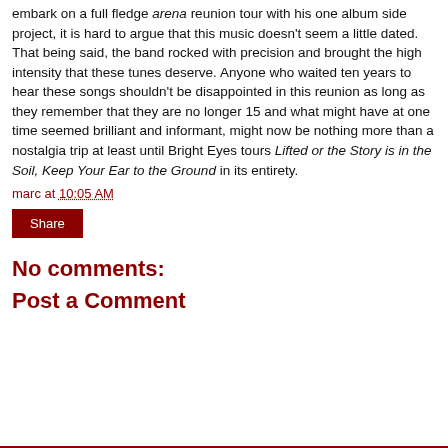embark on a full fledge arena reunion tour with his one album side project, it is hard to argue that this music doesn't seem a little dated. That being said, the band rocked with precision and brought the high intensity that these tunes deserve. Anyone who waited ten years to hear these songs shouldn't be disappointed in this reunion as long as they remember that they are no longer 15 and what might have at one time seemed brilliant and informant, might now be nothing more than a nostalgia trip at least until Bright Eyes tours Lifted or the Story is in the Soil, Keep Your Ear to the Ground in its entirety.
marc at 10:05 AM
Share
No comments:
Post a Comment